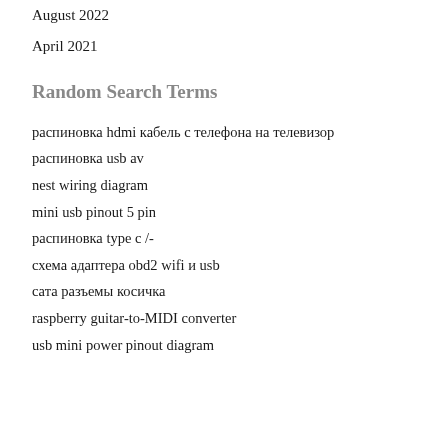August 2022
April 2021
Random Search Terms
распиновка hdmi кабель с телефона на телевизор
распиновка usb av
nest wiring diagram
mini usb pinout 5 pin
распиновка type c /-
схема адаптера obd2 wifi и usb
сата разъемы косичка
raspberry guitar-to-MIDI converter
usb mini power pinout diagram